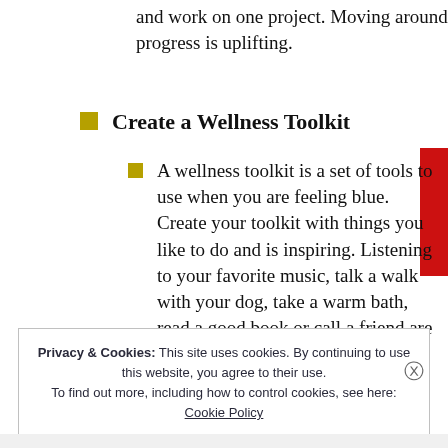and work on one project. Moving around and seeing your progress is uplifting.
Create a Wellness Toolkit
A wellness toolkit is a set of tools to use when you are feeling blue. Create your toolkit with things you like to do and is inspiring. Listening to your favorite music, talk a walk with your dog, take a warm bath, read a good book or call a friend are a few ideas.
Privacy & Cookies: This site uses cookies. By continuing to use this website, you agree to their use. To find out more, including how to control cookies, see here: Cookie Policy
Close and accept